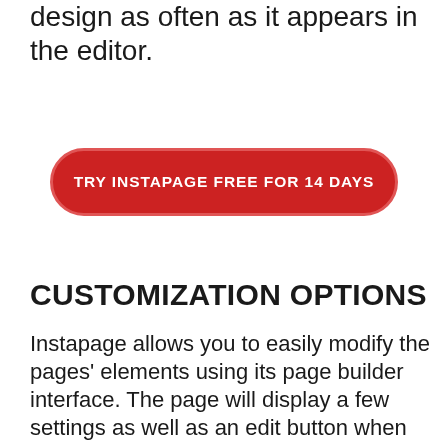design as often as it appears in the editor.
[Figure (other): Red rounded button with white uppercase text: TRY INSTAPAGE FREE FOR 14 DAYS]
CUSTOMIZATION OPTIONS
Instapage allows you to easily modify the pages' elements using its page builder interface. The page will display a few settings as well as an edit button when you click on an item.